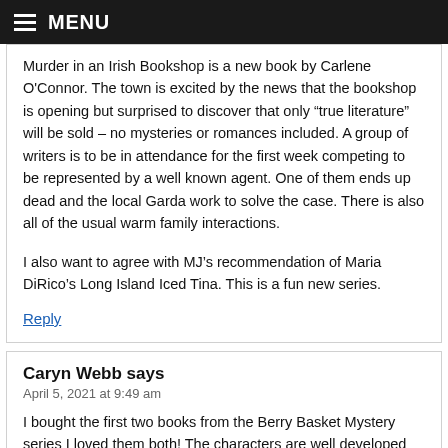MENU
Murder in an Irish Bookshop is a new book by Carlene O'Connor. The town is excited by the news that the bookshop is opening but surprised to discover that only “true literature” will be sold – no mysteries or romances included. A group of writers is to be in attendance for the first week competing to be represented by a well known agent. One of them ends up dead and the local Garda work to solve the case. There is also all of the usual warm family interactions.

I also want to agree with MJ’s recommendation of Maria DiRico’s Long Island Iced Tina. This is a fun new series.
Reply
Caryn Webb says
April 5, 2021 at 9:49 am
I bought the first two books from the Berry Basket Mystery series I loved them both! The characters are well developed